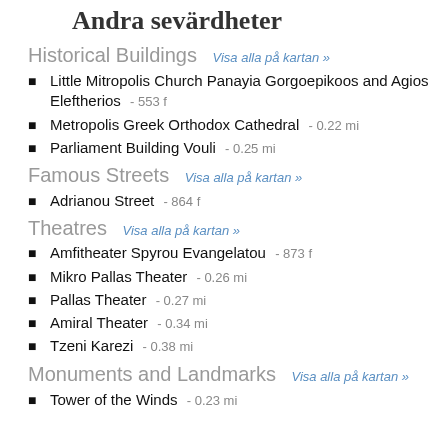Andra sevärdheter
Historical Buildings  Visa alla på kartan »
Little Mitropolis Church Panayia Gorgoepikoos and Agios Eleftherios  - 553 f
Metropolis Greek Orthodox Cathedral  - 0.22 mi
Parliament Building Vouli  - 0.25 mi
Famous Streets  Visa alla på kartan »
Adrianou Street  - 864 f
Theatres  Visa alla på kartan »
Amfitheater Spyrou Evangelatou  - 873 f
Mikro Pallas Theater  - 0.26 mi
Pallas Theater  - 0.27 mi
Amiral Theater  - 0.34 mi
Tzeni Karezi  - 0.38 mi
Monuments and Landmarks  Visa alla på kartan »
Tower of the Winds  - 0.23 mi